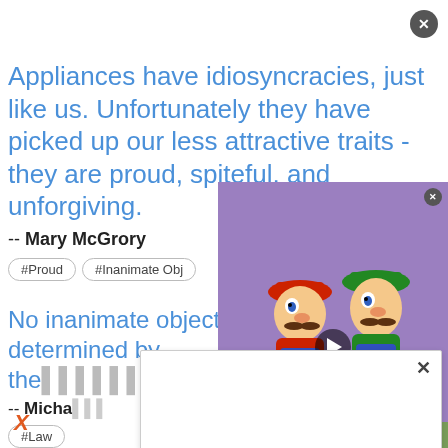Appliances have idiosyncracies, just like us. Unfortunately they have picked up our less attractive traits - they are proud, spiteful, and unforgiving.
-- Mary McGrory
#Proud
#Inanimate Obj
[Figure (illustration): Cartoon video thumbnail showing Mario and Luigi characters facing each other in an animated scene, with a play button overlay.]
No inanimate object is ever fully determined by the laws of physics alone by its...
-- Micha...
#Law